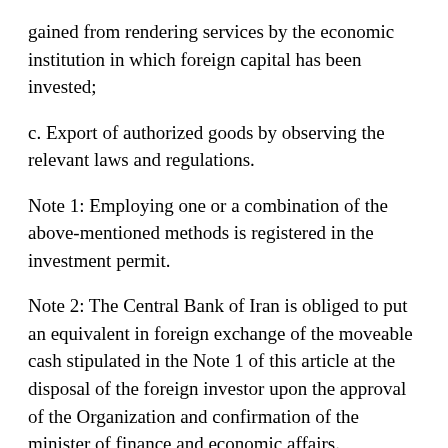gained from rendering services by the economic institution in which foreign capital has been invested;
c. Export of authorized goods by observing the relevant laws and regulations.
Note 1: Employing one or a combination of the above-mentioned methods is registered in the investment permit.
Note 2: The Central Bank of Iran is obliged to put an equivalent in foreign exchange of the moveable cash stipulated in the Note 1 of this article at the disposal of the foreign investor upon the approval of the Organization and confirmation of the minister of finance and economic affairs.
Note 3: If the investment permit happens to be based